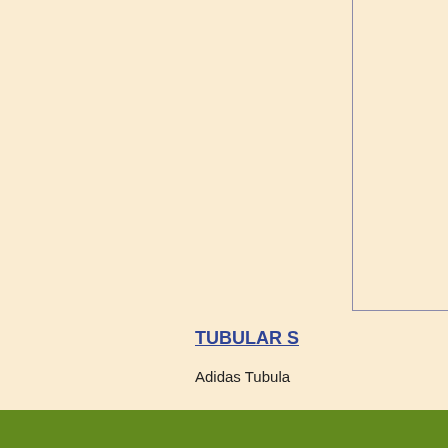[Figure (other): Partial product image box in upper right corner, bordered on left and bottom]
TUBULAR S
Adidas Tubula